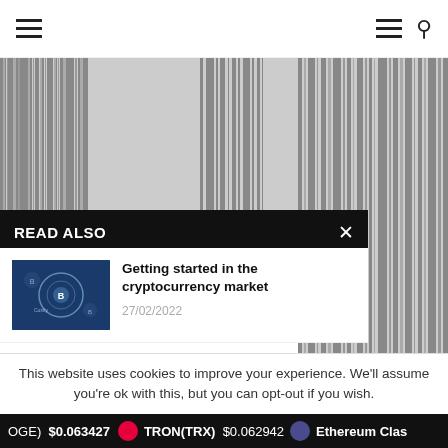Navigation bar with menu and search icons
[Figure (illustration): Corrupted/barcode-like background image on left side]
[Figure (illustration): Corrupted/barcode-like background image on right side]
READ ALSO
[Figure (photo): Cryptocurrency market illustration with B symbols and circles]
Getting started in the cryptocurrency market
27/02/2022
[Figure (photo): Dogecoin Millionaire article thumbnail with bitcoin coin on dark background]
'Dogecoin Millionaire' Reveals The Cryptocurrency He Predicts
This website uses cookies to improve your experience. We'll assume you're ok with this, but you can opt-out if you wish.
OGE) $0.063427   TRON(TRX) $0.062942   Ethereum Clas